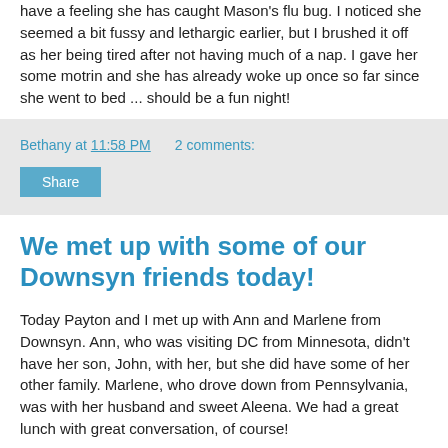have a feeling she has caught Mason's flu bug. I noticed she seemed a bit fussy and lethargic earlier, but I brushed it off as her being tired after not having much of a nap. I gave her some motrin and she has already woke up once so far since she went to bed ... should be a fun night!
Bethany at 11:58 PM   2 comments:
Share
We met up with some of our Downsyn friends today!
Today Payton and I met up with Ann and Marlene from Downsyn. Ann, who was visiting DC from Minnesota, didn't have her son, John, with her, but she did have some of her other family. Marlene, who drove down from Pennsylvania, was with her husband and sweet Aleena. We had a great lunch with great conversation, of course!